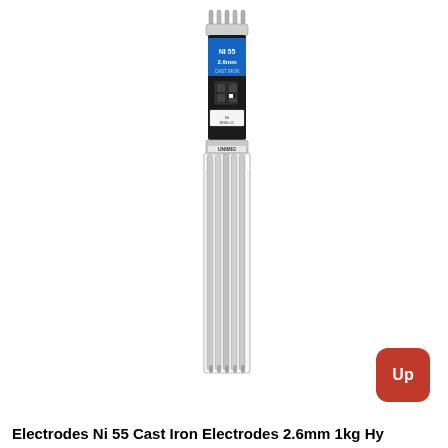[Figure (photo): Product photo of Unimig NI 55 Cast Iron Welding Electrodes 2.6mm 1kg pack. The image shows a cylindrical black and blue labeled tube/container at the top with 'NI 55 2.6mm CAST IRON' text and logo, with multiple long metallic gray welding electrode rods bundled below it secured with a clear plastic wrap/packaging.]
Electrodes Ni 55 Cast Iron Electrodes 2.6mm 1kg Hy